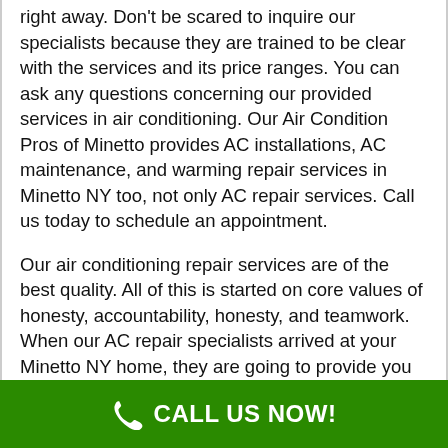right away. Don't be scared to inquire our specialists because they are trained to be clear with the services and its price ranges. You can ask any questions concerning our provided services in air conditioning. Our Air Condition Pros of Minetto provides AC installations, AC maintenance, and warming repair services in Minetto NY too, not only AC repair services. Call us today to schedule an appointment.
Our air conditioning repair services are of the best quality. All of this is started on core values of honesty, accountability, honesty, and teamwork. When our AC repair specialists arrived at your Minetto NY home, they are going to provide you with a free in-home estimate before they start any maintenance. If you both decide on the price estimate made, works will begin. We're transparent with our price ranges and services, so feel free to inquire our specialists any questions about the air conditioning repair services provided. AC
CALL US NOW!